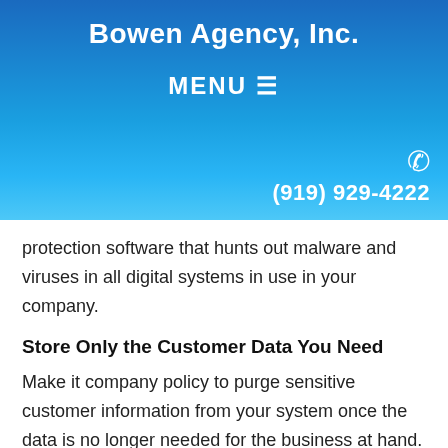Bowen Agency, Inc.
MENU ☰
(919) 929-4222
protection software that hunts out malware and viruses in all digital systems in use in your company.
Store Only the Customer Data You Need
Make it company policy to purge sensitive customer information from your system once the data is no longer needed for the business at hand. It is not a good practice to keep credit card numbers and other confidential information to have them on file. The risk of a data breach